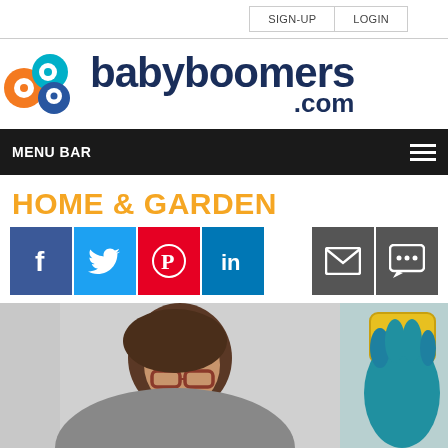SIGN-UP  LOGIN
[Figure (logo): babyboomers.com logo with colorful 'bb' icon and dark navy text]
MENU BAR
HOME & GARDEN
[Figure (infographic): Social media share buttons: Facebook, Twitter, Pinterest, LinkedIn, Email, Comment]
[Figure (photo): Woman with glasses cleaning a window, wearing yellow rubber gloves]